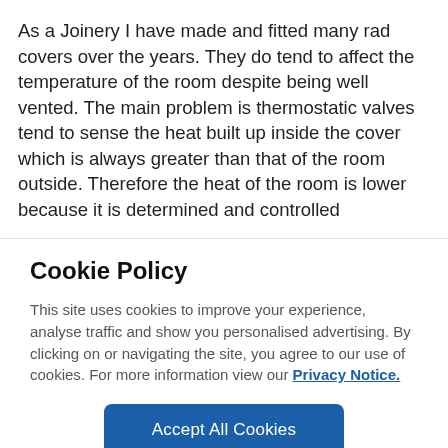As a Joinery I have made and fitted many rad covers over the years. They do tend to affect the temperature of the room despite being well vented. The main problem is thermostatic valves tend to sense the heat built up inside the cover which is always greater than that of the room outside. Therefore the heat of the room is lower because it is determined and controlled
Cookie Policy
This site uses cookies to improve your experience, analyse traffic and show you personalised advertising. By clicking on or navigating the site, you agree to our use of cookies. For more information view our Privacy Notice.
Accept All Cookies